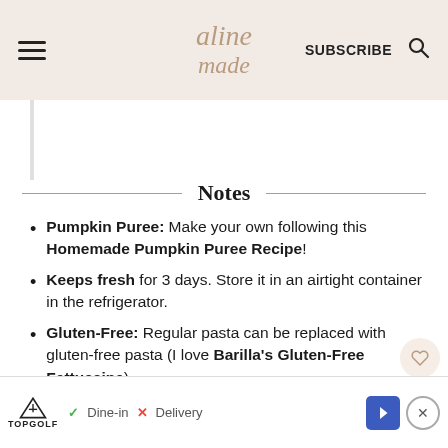aline made — SUBSCRIBE
Notes
Pumpkin Puree: Make your own following this Homemade Pumpkin Puree Recipe!
Keeps fresh for 3 days. Store it in an airtight container in the refrigerator.
Gluten-Free: Regular pasta can be replaced with gluten-free pasta (I love Barilla's Gluten-Free Fettuccine).